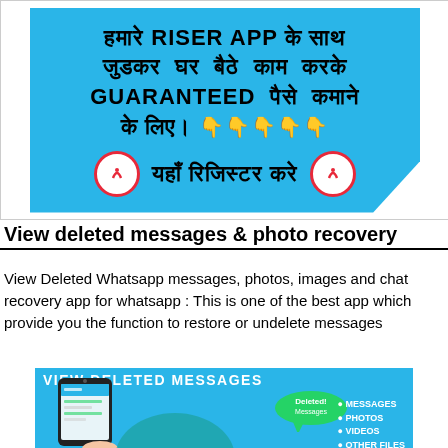[Figure (advertisement): Riser App advertisement in Hindi with blue hexagonal background. Text reads: हमारे RISER APP के साथ जुडकर घर बैठे काम करके GUARANTEED पैसे कमाने के लिए। 👇👇👇👇👇 यहाँ रिजिस्टर करे, with Riser logos on both sides of register text.]
View deleted messages & photo recovery
View Deleted Whatsapp messages, photos, images and chat recovery app for whatsapp : This is one of the best app which provide you the function to restore or undelete messages
[Figure (screenshot): View Deleted Messages app screenshot showing a smartphone with WhatsApp interface, a green speech bubble labeled 'Deleted! Messages', and bullet points listing MESSAGES, PHOTOS, VIDEOS, OTHER FILES on a teal/blue background.]